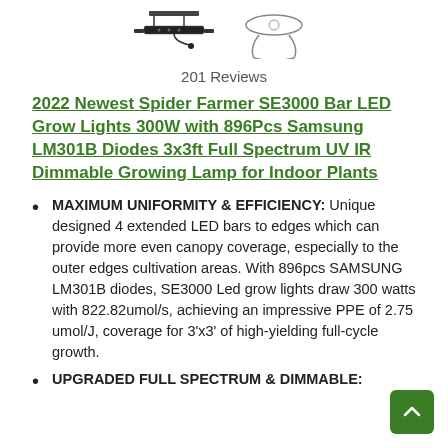[Figure (photo): Product images of a Spider Farmer SE3000 Bar LED Grow Light and accessories shown at top of page]
201 Reviews
2022 Newest Spider Farmer SE3000 Bar LED Grow Lights 300W with 896Pcs Samsung LM301B Diodes 3x3ft Full Spectrum UV IR Dimmable Growing Lamp for Indoor Plants
MAXIMUM UNIFORMITY & EFFICIENCY: Unique designed 4 extended LED bars to edges which can provide more even canopy coverage, especially to the outer edges cultivation areas. With 896pcs SAMSUNG LM301B diodes, SE3000 Led grow lights draw 300 watts with 822.82umol/s, achieving an impressive PPE of 2.75 umol/J, coverage for 3'x3' of high-yielding full-cycle growth.
UPGRADED FULL SPECTRUM & DIMMABLE: